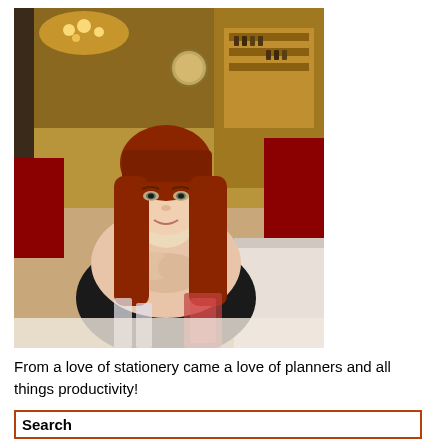[Figure (photo): A woman with long auburn/red hair and bangs, smiling, seated at a restaurant table with glasses in front of her. Restaurant interior visible in background with warm lighting, red chairs, and a bar area.]
From a love of stationery came a love of planners and all things productivity!
Search